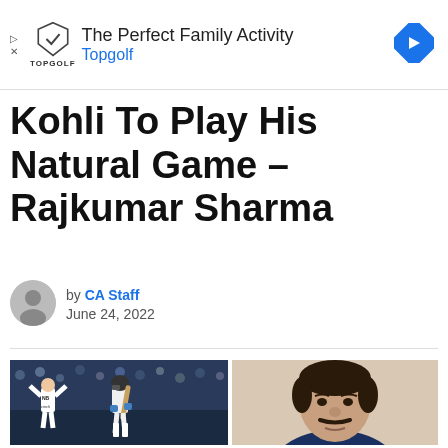[Figure (other): Topgolf advertisement banner with shield logo, text 'The Perfect Family Activity' and 'Topgolf' in blue, and a navigation arrow icon on the right]
Kohli To Play His Natural Game – Rajkumar Sharma
by CA Staff
June 24, 2022
[Figure (photo): Left: England cricketer celebrating a wicket while Virat Kohli in cricket gear looks down. Right: Close-up portrait of Rajkumar Sharma, a middle-aged Indian man with a moustache wearing a dark blue shirt.]